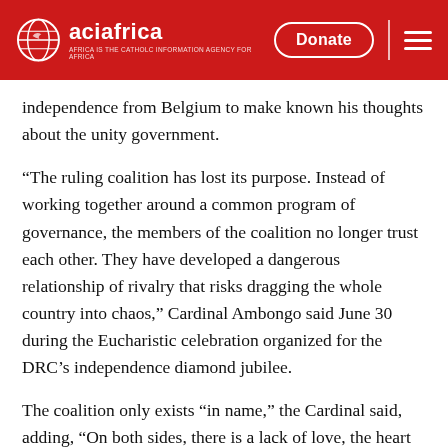aciafrica | Donate
independence from Belgium to make known his thoughts about the unity government.
“The ruling coalition has lost its purpose. Instead of working together around a common program of governance, the members of the coalition no longer trust each other. They have developed a dangerous relationship of rivalry that risks dragging the whole country into chaos,” Cardinal Ambongo said June 30 during the Eucharistic celebration organized for the DRC’s independence diamond jubilee.
The coalition only exists “in name,” the Cardinal said, adding, “On both sides, there is a lack of love, the heart is no longer at work.”